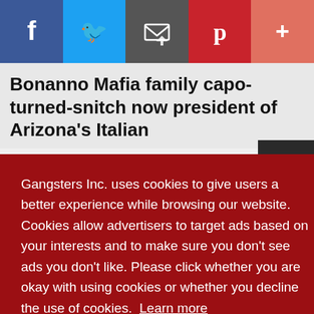[Figure (other): Social sharing bar with Facebook, Twitter, Email, Pinterest, and More buttons]
Bonanno Mafia family capo-turned-snitch now president of Arizona's Italian
Gangsters Inc. uses cookies to give users a better experience while browsing our website. Cookies allow advertisers to target ads based on your interests and to make sure you don't see ads you don't like. Please click whether you are okay with using cookies or whether you decline the use of cookies.  Learn more
Richard Cantarella's life is filled with twists and turns.